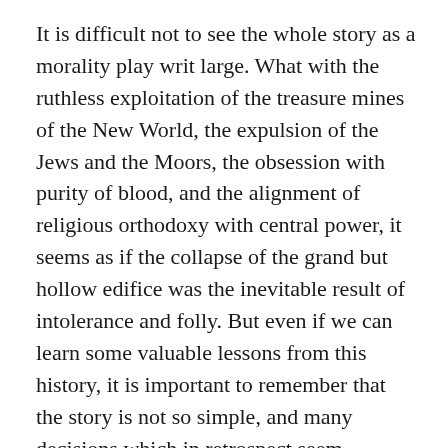It is difficult not to see the whole story as a morality play writ large. What with the ruthless exploitation of the treasure mines of the New World, the expulsion of the Jews and the Moors, the obsession with purity of blood, and the alignment of religious orthodoxy with central power, it seems as if the collapse of the grand but hollow edifice was the inevitable result of intolerance and folly. But even if we can learn some valuable lessons from this history, it is important to remember that the story is not so simple, and many decisions which in retrospect seem obviously foolish were at the time fairly reasonable (though of course many weren't).